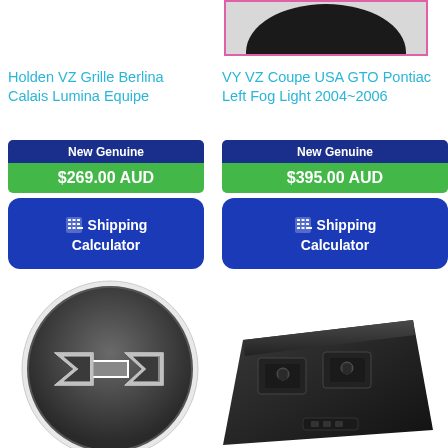[Figure (photo): Partial product image at top right, circular dark object with pink/magenta border]
Holden VZ Grille Berlina Calais Lumina Equipe
VY VZ Coupe USA GTO Pontiac Left Fog Light 2004~2006
New Genuine
$269.00 AUD
Shipping Calculator
New Genuine
$395.00 AUD
Shipping Calculator
[Figure (photo): Chevrolet bowtie logo badge, circular, dark gray/black with silver outline on white background]
[Figure (photo): Black plastic window switch panel/module with two square buttons]